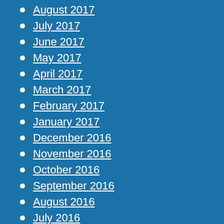August 2017
July 2017
June 2017
May 2017
April 2017
March 2017
February 2017
January 2017
December 2016
November 2016
October 2016
September 2016
August 2016
July 2016
June 2016
May 2016
April 2016